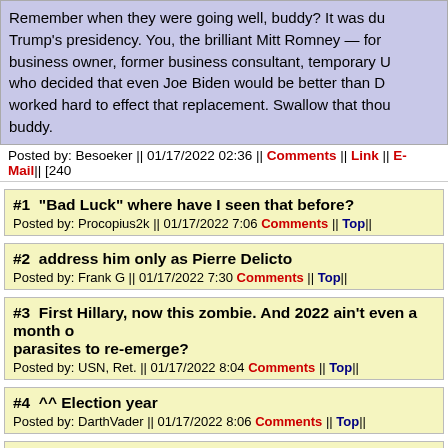Remember when they were going well, buddy? It was during Trump's presidency. You, the brilliant Mitt Romney — former business owner, former business consultant, temporary U... who decided that even Joe Biden would be better than D... worked hard to effect that replacement. Swallow that thou... buddy.
Posted by: Besoeker || 01/17/2022 02:36 || Comments || Link || E-Mail|| [240 ...
#1  "Bad Luck" where have I seen that before?
Posted by: Procopius2k || 01/17/2022 7:06 Comments || Top||
#2  address him only as Pierre Delicto
Posted by: Frank G || 01/17/2022 7:30 Comments || Top||
#3  First Hillary, now this zombie. And 2022 ain't even a month o... parasites to re-emerge?
Posted by: USN, Ret. || 01/17/2022 8:04 Comments || Top||
#4  ^^ Election year
Posted by: DarthVader || 01/17/2022 8:06 Comments || Top||
#5  #2 address him only as Pierre Delicto Posted by: Frank G 20...